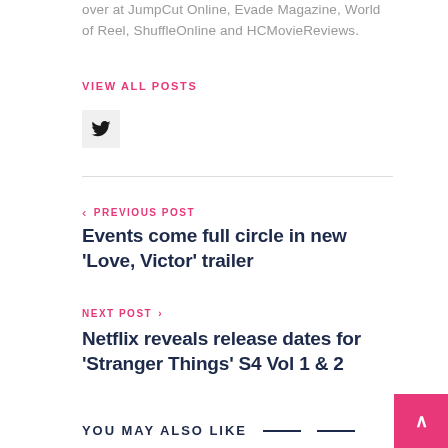over at JumpCut Online, Evade Magazine, World of Reel, ShuffleOnline and HCMovieReviews.
VIEW ALL POSTS
[Figure (logo): Twitter bird icon in a light gray square button]
< PREVIOUS POST
Events come full circle in new ‘Love, Victor’ trailer
NEXT POST >
Netflix reveals release dates for ‘Stranger Things’ S4 Vol 1 & 2
YOU MAY ALSO LIKE